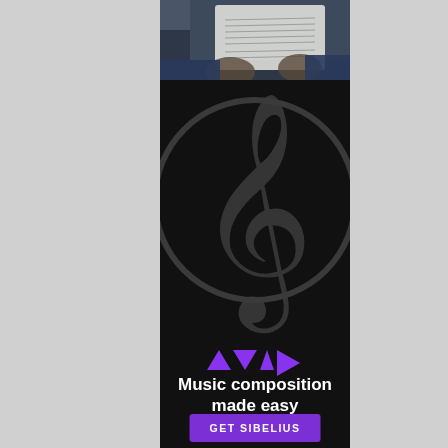[Figure (photo): Person holding sheet music, viewed from above, dark clothing]
[Figure (illustration): Dark circular background with treble clef music symbol in dark gray]
[Figure (logo): Avid logo with purple triangles forming A-V-I-D arrow shape]
Music composition made easy
GET SIBELIUS